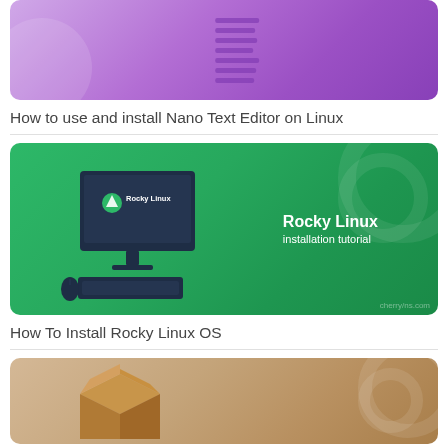[Figure (screenshot): Purple gradient thumbnail for Nano Text Editor article showing purple/pink gradient background with code lines]
How to use and install Nano Text Editor on Linux
[Figure (illustration): Green gradient thumbnail showing a desktop computer monitor with Rocky Linux logo, keyboard and mouse, with text 'Rocky Linux installation tutorial']
How To Install Rocky Linux OS
[Figure (photo): Tan/brown gradient thumbnail partially visible at the bottom, showing a cardboard box]